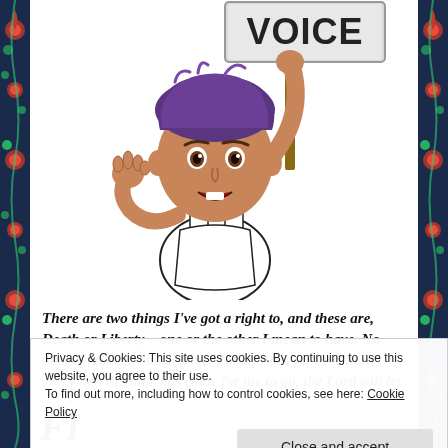[Figure (illustration): Bitmoji cartoon character with purple hair, wearing a white tank top, holding a sign that reads 'VOICE' with one arm raised, and holding a hand near their mouth as if shouting. White background.]
There are two things I've got a right to, and these are, Death or Liberty – one or the other I mean to have. No one will take me back alive; I shall fight for my liberty, and when the time has come for me to go, the Lord will let
Privacy & Cookies: This site uses cookies. By continuing to use this website, you agree to their use.
To find out more, including how to control cookies, see here: Cookie Policy
Close and accept